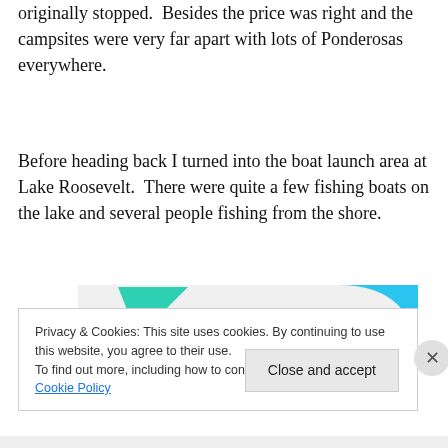originally stopped.  Besides the price was right and the campsites were very far apart with lots of Ponderosas everywhere.
Before heading back I turned into the boat launch area at Lake Roosevelt.  There were quite a few fishing boats on the lake and several people fishing from the shore.
[Figure (other): Advertisement banner reading 'How to start selling subscriptions online' with teal and cyan decorative shapes on a light gray background.]
Privacy & Cookies: This site uses cookies. By continuing to use this website, you agree to their use.
To find out more, including how to control cookies, see here: Cookie Policy